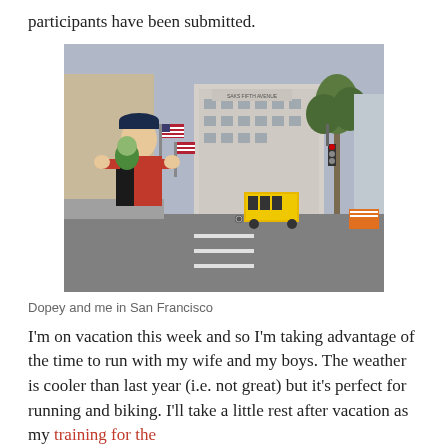participants have been submitted.
[Figure (photo): A man wearing a navy cap and red/black athletic shirt holding a small green stuffed toy (Dopey) in front of a San Francisco street scene with cable car, palm trees, and Saks Fifth Avenue building visible.]
Dopey and me in San Francisco
I'm on vacation this week and so I'm taking advantage of the time to run with my wife and my boys. The weather is cooler than last year (i.e. not great) but it's perfect for running and biking. I'll take a little rest after vacation as my training for the